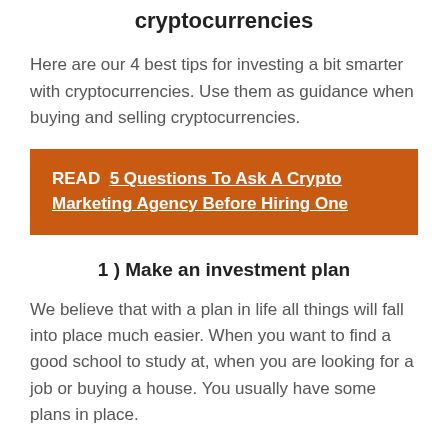cryptocurrencies
Here are our 4 best tips for investing a bit smarter with cryptocurrencies. Use them as guidance when buying and selling cryptocurrencies.
READ  5 Questions To Ask A Crypto Marketing Agency Before Hiring One
1 ) Make an investment plan
We believe that with a plan in life all things will fall into place much easier. When you want to find a good school to study at, when you are looking for a job or buying a house. You usually have some plans in place.